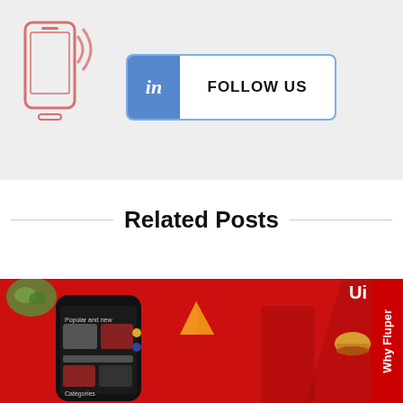[Figure (illustration): LinkedIn Follow Us button on a light grey background with a phone/mobile illustration on the left side]
Related Posts
[Figure (photo): Food delivery app promotional image with red background, showing a smartphone with food delivery app UI and a delivery man holding a phone, with food items floating around. A vertical red tab on the right reads 'Why Fluper']